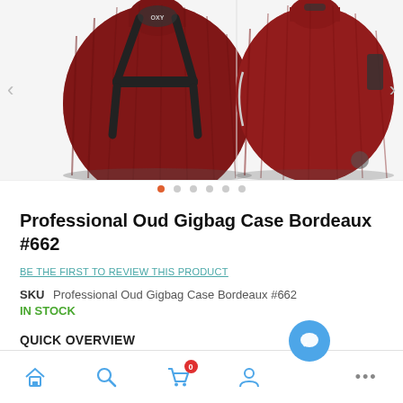[Figure (photo): Two red Oud gigbag cases shown side by side — left showing the back with backpack straps, right showing the front — with navigation arrows on sides and carousel dots below.]
Professional Oud Gigbag Case Bordeaux #662
BE THE FIRST TO REVIEW THIS PRODUCT
SKU  Professional Oud Gigbag Case Bordeaux #662
IN STOCK
QUICK OVERVIEW
Home | Search | Cart (0) | Account | More